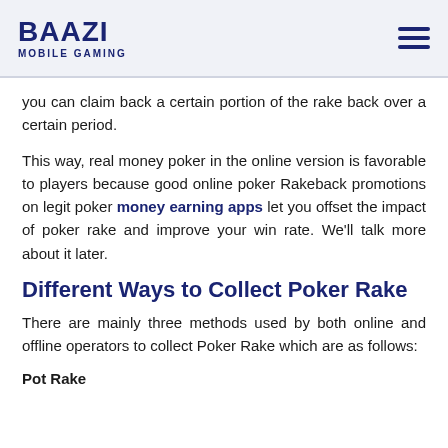BAAZI MOBILE GAMING
you can claim back a certain portion of the rake back over a certain period.
This way, real money poker in the online version is favorable to players because good online poker Rakeback promotions on legit poker money earning apps let you offset the impact of poker rake and improve your win rate. We'll talk more about it later.
Different Ways to Collect Poker Rake
There are mainly three methods used by both online and offline operators to collect Poker Rake which are as follows:
Pot Rake